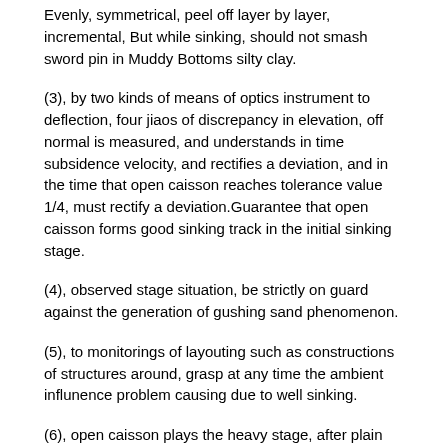Evenly, symmetrical, peel off layer by layer, incremental, But while sinking, should not smash sword pin in Muddy Bottoms silty clay.
(3), by two kinds of means of optics instrument to deflection, four jiaos of discrepancy in elevation, off normal is measured, and understands in time subsidence velocity, and rectifies a deviation, and in the time that open caisson reaches tolerance value 1/4, must rectify a deviation.Guarantee that open caisson forms good sinking track in the initial sinking stage.
(4), observed stage situation, be strictly on guard against the generation of gushing sand phenomenon.
(5), to monitorings of layouting such as constructions of structures around, grasp at any time the ambient influnence problem causing due to well sinking.
(6), open caisson plays the heavy stage, after plain concrete bed course strikes and tears open, open caisson center of gravity is higher, the surrounding zerofriction force of caisson wall, the subsidence factor of open caisson is very large, and the brick clay that digs sword